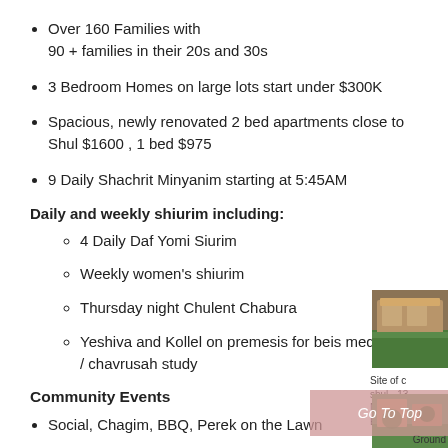Over 160 Families with 90 + families in their 20s and 30s
3 Bedroom Homes on large lots start under $300K
Spacious, newly renovated 2 bed apartments close to Shul $1600 , 1 bed $975
9 Daily Shachrit Minyanim starting at 5:45AM
Daily and weekly shiurim including:
4 Daily Daf Yomi Siurim
Weekly women's shiurim
Thursday night Chulent Chabura
Yeshiva and Kollel on premesis for beis medrash / chavrusah study
Community Events
Social, Chagim, BBQ, Perek on the Lawn
3 Newly renovated mikvaot, 24 hr keilim mikvah
[Figure (photo): Building/shul exterior photo top right]
Site of c shul - 13 North A Elizabet
[Figure (photo): Outdoor grounds photo bottom right]
Ground
Go To Top